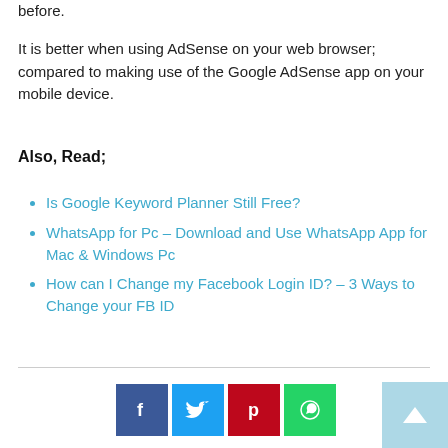before.
It is better when using AdSense on your web browser; compared to making use of the Google AdSense app on your mobile device.
Also, Read;
Is Google Keyword Planner Still Free?
WhatsApp for Pc – Download and Use WhatsApp App for Mac & Windows Pc
How can I Change my Facebook Login ID? – 3 Ways to Change your FB ID
[Figure (other): Social share buttons: Facebook (blue), Twitter (light blue), Pinterest (red), WhatsApp (green), and a scroll-to-top button (light blue)]